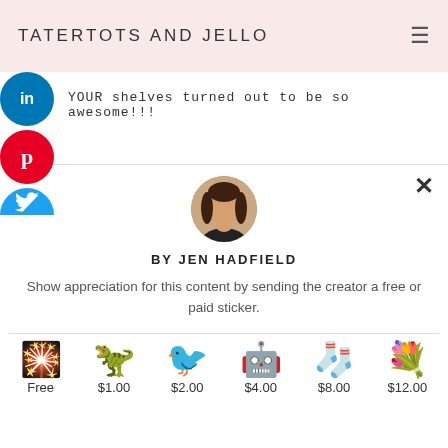TATERTOTS AND JELLO
YOUR shelves turned out to be so awesome!!!
[Figure (illustration): Social share buttons: LinkedIn (blue circle with 'in'), Pinterest (red circle with 'p'), Twitter (blue circle with bird icon)]
[Figure (photo): Circular avatar photo of Jen Hadfield, a woman with long dark hair wearing a black top]
BY JEN HADFIELD
Show appreciation for this content by sending the creator a free or paid sticker.
[Figure (illustration): Six sticker options in a row: a star/mushroom/sparkler cluster (Free), a green dinosaur ($1.00), a gold origami crane ($2.00), a blue robot ($4.00), a blue knitted sock with knitting needles ($8.00), and a flower bouquet ($12.00)]